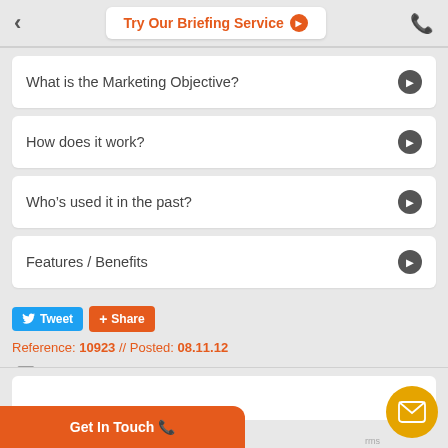Try Our Briefing Service
What is the Marketing Objective?
How does it work?
Who's used it in the past?
Features / Benefits
Tweet  Share
Reference: 10923 // Posted: 08.11.12
Get In Touch